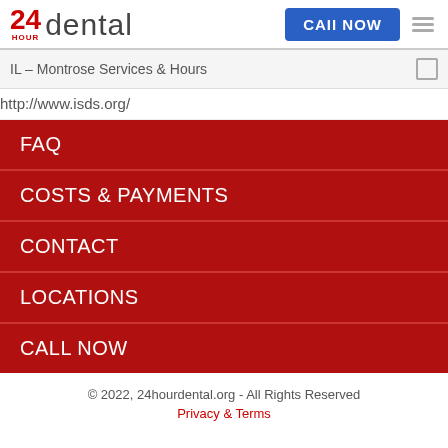24 HOUR dental | CALL NOW
IL – Montrose Services & Hours
http://www.isds.org/
FAQ
COSTS & PAYMENTS
CONTACT
LOCATIONS
CALL NOW
© 2022, 24hourdental.org - All Rights Reserved
Privacy & Terms